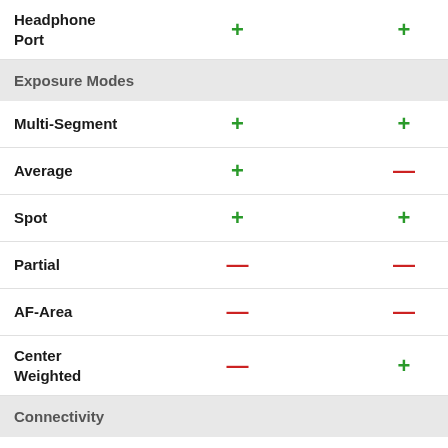| Feature | Camera 1 | Camera 2 |
| --- | --- | --- |
| Headphone Port | + | + |
| Exposure Modes |  |  |
| Multi-Segment | + | + |
| Average | + | − |
| Spot | + | + |
| Partial | − | − |
| AF-Area | − | − |
| Center Weighted | − | + |
| Connectivity |  |  |